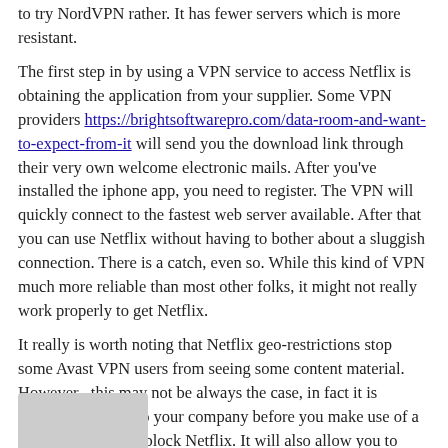to try NordVPN rather. It has fewer servers which is more resistant.
The first step in by using a VPN service to access Netflix is obtaining the application from your supplier. Some VPN providers https://brightsoftwarepro.com/data-room-and-want-to-expect-from-it will send you the download link through their very own welcome electronic mails. After you've installed the iphone app, you need to register. The VPN will quickly connect to the fastest web server available. After that you can use Netflix without having to bother about a sluggish connection. There is a catch, even so. While this kind of VPN much more reliable than most other folks, it might not really work properly to get Netflix.
It really is worth noting that Netflix geo-restrictions stop some Avast VPN users from seeing some content material. However , this may not be always the case, in fact it is advisable to refer to your company before you make use of a VPN in order to unblock Netflix. It will also allow you to stream articles that might usually be not available. Avast VPN users could also use other methods, such as torrenting.
« $2000 Australian On-line On Line Casino For Real Money
1xbet Vip Loyalty Program »
[Figure (photo): Gray avatar placeholder image in bottom-left corner]